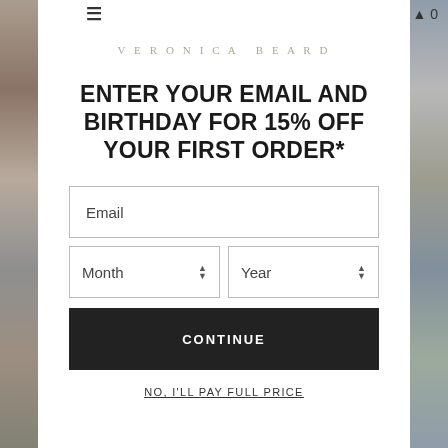VERONICA BEARD
ENTER YOUR EMAIL AND BIRTHDAY FOR 15% OFF YOUR FIRST ORDER*
Email
Month
Year
CONTINUE
NO, I'LL PAY FULL PRICE